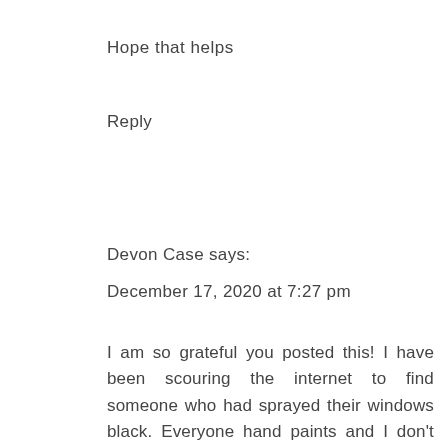Hope that helps
Reply
Devon Case says:
December 17, 2020 at 7:27 pm
I am so grateful you posted this! I have been scouring the internet to find someone who had sprayed their windows black. Everyone hand paints and I don't got time fo dat! We have casement windows and a lot of them. I am officially going to spray those bad